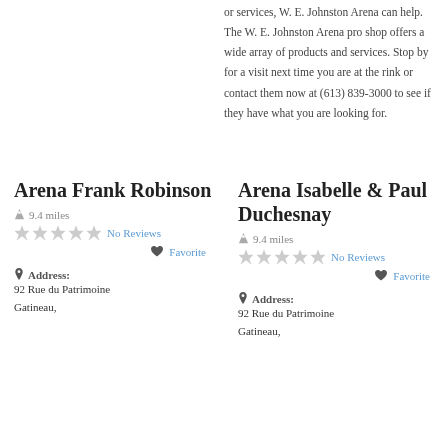or services, W. E. Johnston Arena can help. The W. E. Johnston Arena pro shop offers a wide array of products and services. Stop by for a visit next time you are at the rink or contact them now at (613) 839-3000 to see if they have what you are looking for.
Arena Frank Robinson
9.4 miles
No Reviews
Favorite
Address:
92 Rue du Patrimoine
Gatineau,
Arena Isabelle & Paul Duchesnay
9.4 miles
No Reviews
Favorite
Address:
92 Rue du Patrimoine
Gatineau,